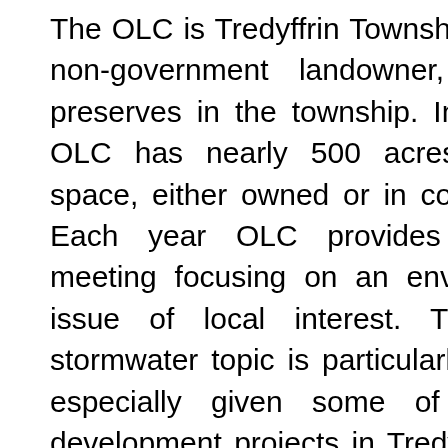The OLC is Tredyffrin Township's largest non-government landowner, with six preserves in the township. In total, the OLC has nearly 500 acres of open space, either owned or in conservancy. Each year OLC provides a public meeting focusing on an environmental issue of local interest. This year's stormwater topic is particularly relevant, especially given some of the new development projects in Tredyffrin – the large assisted living building on Lancaster Avenue in Daylesford, Chesterbrook Shopping Center redevelopment and Wayne Glen (Richter Tract) carriage and